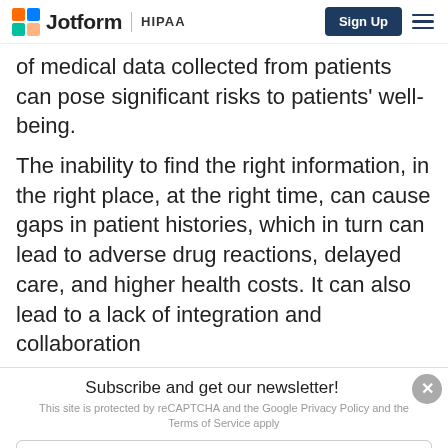Jotform | HIPAA
of medical data collected from patients can pose significant risks to patients' well-being.
The inability to find the right information, in the right place, at the right time, can cause gaps in patient histories, which in turn can lead to adverse drug reactions, delayed care, and higher health costs. It can also lead to a lack of integration and collaboration
Subscribe and get our newsletter!
This site is protected by reCAPTCHA and the Google Privacy Policy and Terms of Service apply
Enter your email address to subscribe
Subscribe Now